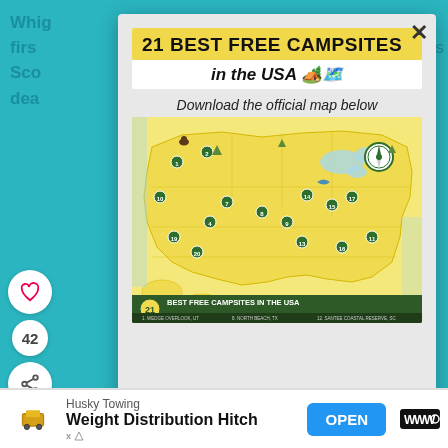21 BEST FREE CAMPSITES in the USA 🏕️🗺️
Download the official map below
[Figure (map): Illustrated map of the USA showing 21 best free campsite locations, with icons for each campsite. Includes a compass rose and decorative wildlife illustrations. Bottom banner reads '21 BEST FREE CAMPSITES IN THE USA' with campsite names listed beneath.]
Husky Towing
Weight Distribution Hitch